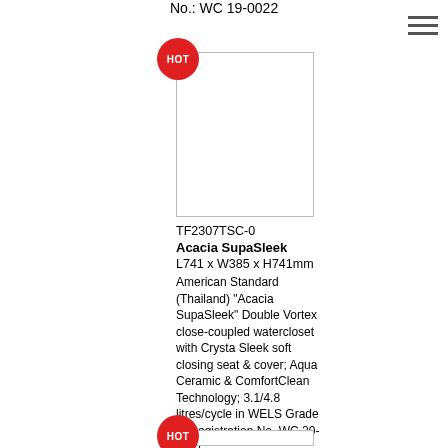No.: WC 19-0022
[Figure (photo): Product image placeholder (empty rectangle with border) for HOT labeled item]
TF2307TSC-0
Acacia SupaSleek
L741 x W385 x H741mm
American Standard (Thailand) "Acacia SupaSleek" Double Vortex close-coupled watercloset with Crysta Sleek soft closing seat & cover; Aqua Ceramic & ComfortClean Technology; 3.1/4.8 litres/cycle in WELS Grade 1; Registration No. WC 20-0131
[Figure (photo): Second product image placeholder (partially visible at bottom)]